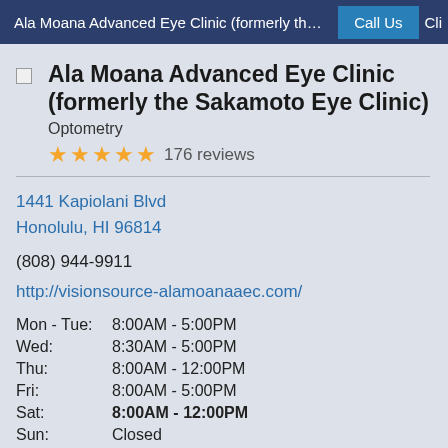Ala Moana Advanced Eye Clinic (formerly the Saka… | Call Us | Cli…
Ala Moana Advanced Eye Clinic (formerly the Sakamoto Eye Clinic)
Optometry
★★★★★ 176 reviews
1441 Kapiolani Blvd
Honolulu, HI 96814
(808) 944-9911
http://visionsource-alamoanaaec.com/
| Day | Hours |
| --- | --- |
| Mon - Tue: | 8:00AM - 5:00PM |
| Wed: | 8:30AM - 5:00PM |
| Thu: | 8:00AM - 12:00PM |
| Fri: | 8:00AM - 5:00PM |
| Sat: | 8:00AM - 12:00PM |
| Sun: | Closed |